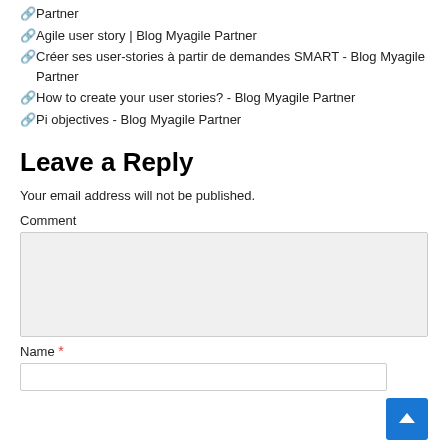⛓Partner
⛓Agile user story | Blog Myagile Partner
⛓Créer ses user-stories à partir de demandes SMART - Blog Myagile Partner
⛓How to create your user stories? - Blog Myagile Partner
⛓Pi objectives - Blog Myagile Partner
Leave a Reply
Your email address will not be published.
Comment
Name *